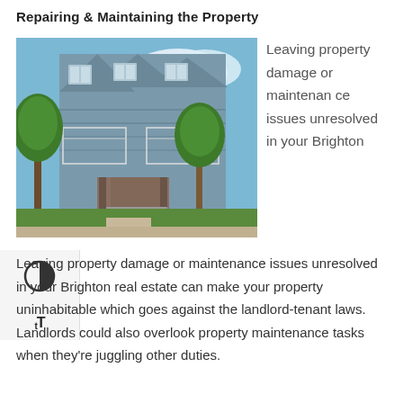Repairing & Maintaining the Property
[Figure (photo): Exterior photo of a multi-story residential building with blue-gray siding, white trim balconies, and green trees in front on a sunny day.]
Leaving property damage or maintenance issues unresolved in your Brighton real estate can make your property uninhabitable which goes against the landlord-tenant laws. Landlords could also overlook property maintenance tasks when they're juggling other duties.